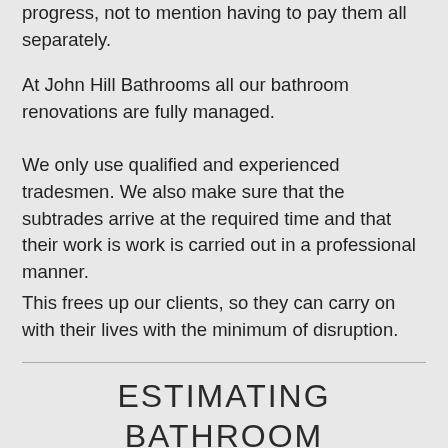progress, not to mention having to pay them all separately.
At John Hill Bathrooms all our bathroom renovations are fully managed.
We only use qualified and experienced tradesmen. We also make sure that the subtrades arrive at the required time and that their work is work is carried out in a professional manner.
This frees up our clients, so they can carry on with their lives with the minimum of disruption.
ESTIMATING BATHROOM RENOVATION COSTS